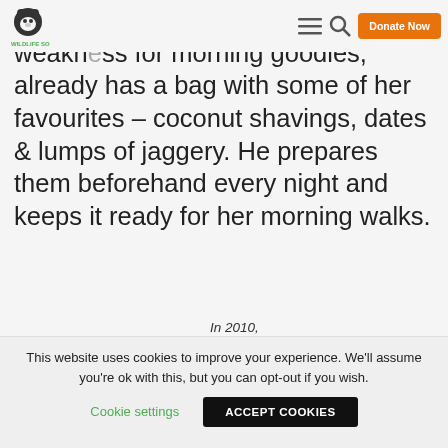Wildlife SOS [logo] | Donate Now
caregiver, knowing of Maya's weakness for morning goodies, already has a bag with some of her favourites – coconut shavings, dates & lumps of jaggery. He prepares them beforehand every night and keeps it ready for her morning walks.
In 2010, Maya was rescued by Wildlife SOS
This website uses cookies to improve your experience. We'll assume you're ok with this, but you can opt-out if you wish. Cookie settings | ACCEPT COOKIES